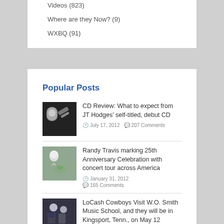Videos (823)
Where are they Now? (9)
WXBQ (91)
Popular Posts
CD Review: What to expect from JT Hodges' self-titled, debut CD
July 17, 2012  207 Comments
Randy Travis marking 25th Anniversary Celebration with concert tour across America
January 31, 2012
165 Comments
LoCash Cowboys Visit W.O. Smith Music School, and they will be in Kingsport, Tenn., on May 12
April 29, 2011  95 Comments